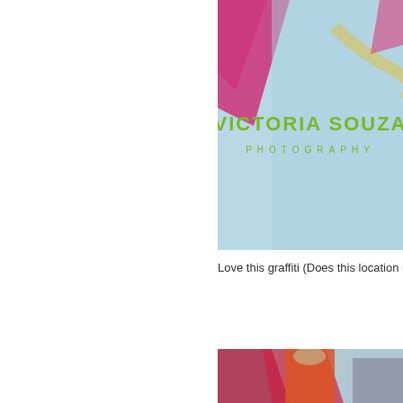[Figure (photo): Victoria Souza Photography logo/banner over colorful graffiti background with pink, yellow, and blue colors. Text reads 'VICTORIA SOUZA' in large green letters and 'PHOTOGRAPHY' in smaller green spaced letters below.]
Love this graffiti (Does this location remind you of anythi...
[Figure (photo): Two people standing in front of a graffiti wall with large red/magenta letters on a light blue/grey background. A young man in an orange t-shirt stands in the foreground, and a woman in a grey top is partially visible on the right side.]